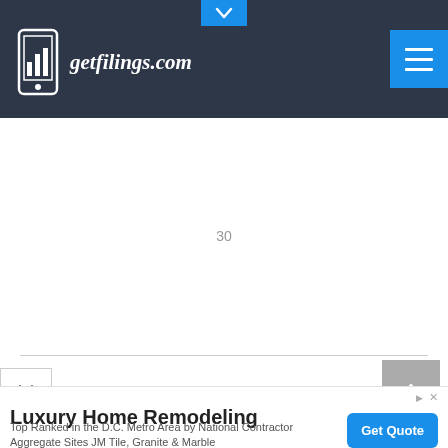getfilings.com
30
8 – FINANCIAL STATEMENTS AND
Luxury Home Remodeling
Top Ranked in the D.C. Metro Area by National Contractor Aggregate Sites JM Tile, Granite & Marble